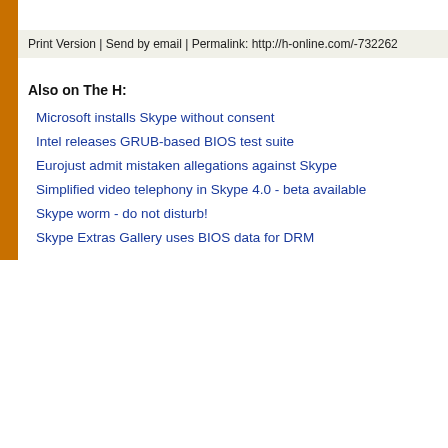Print Version | Send by email | Permalink: http://h-online.com/-732262
Also on The H:
Microsoft installs Skype without consent
Intel releases GRUB-based BIOS test suite
Eurojust admit mistaken allegations against Skype
Simplified video telephony in Skype 4.0 - beta available
Skype worm - do not disturb!
Skype Extras Gallery uses BIOS data for DRM